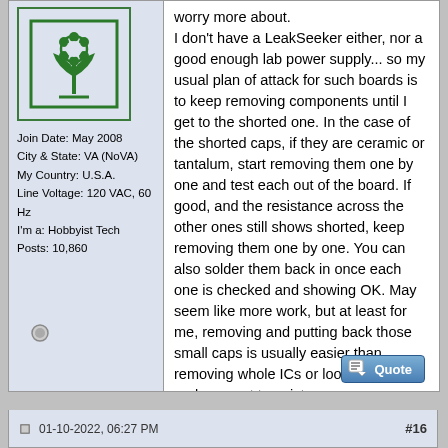[Figure (illustration): Green plant/flower icon in a square border, used as forum user avatar]
Join Date: May 2008
City & State: VA (NoVA)
My Country: U.S.A.
Line Voltage: 120 VAC, 60 Hz
I'm a: Hobbyist Tech
Posts: 10,860
worry more about.
I don't have a LeakSeeker either, nor a good enough lab power supply... so my usual plan of attack for such boards is to keep removing components until I get to the shorted one. In the case of the shorted caps, if they are ceramic or tantalum, start removing them one by one and test each out of the board. If good, and the resistance across the other ones still shows shorted, keep removing them one by one. You can also solder them back in once each one is checked and showing OK. May seem like more work, but at least for me, removing and putting back those small caps is usually easier than removing whole ICs or looking for replacement transistors.
01-10-2022, 06:27 PM
#16